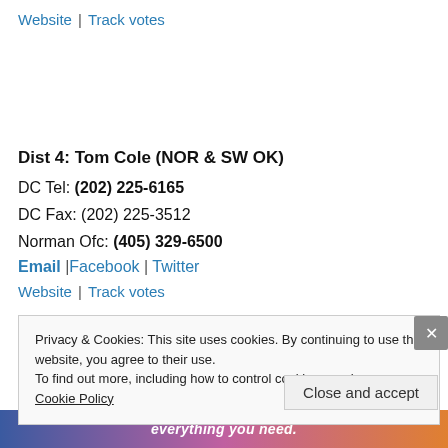Website | Track votes
Dist 4: Tom Cole (NOR & SW OK)
DC Tel: (202) 225-6165
DC Fax: (202) 225-3512
Norman Ofc: (405) 329-6500
Email |Facebook | Twitter
Website | Track votes
Privacy & Cookies: This site uses cookies. By continuing to use this website, you agree to their use.
To find out more, including how to control cookies, see here: Cookie Policy
Close and accept
[Figure (other): Advertisement banner at bottom with colorful gradient background showing partial text 'everything you need.']